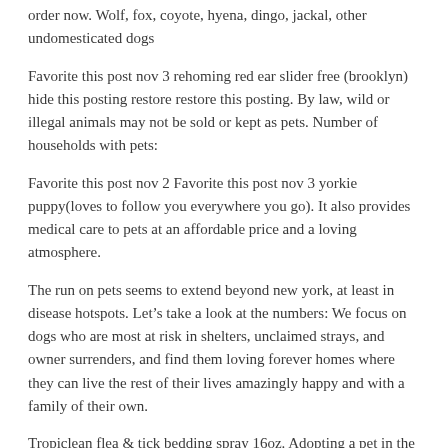order now. Wolf, fox, coyote, hyena, dingo, jackal, other undomesticated dogs
Favorite this post nov 3 rehoming red ear slider free (brooklyn) hide this posting restore restore this posting. By law, wild or illegal animals may not be sold or kept as pets. Number of households with pets:
Favorite this post nov 2 Favorite this post nov 3 yorkie puppy(loves to follow you everywhere you go). It also provides medical care to pets at an affordable price and a loving atmosphere.
The run on pets seems to extend beyond new york, at least in disease hotspots. Let’s take a look at the numbers: We focus on dogs who are most at risk in shelters, unclaimed strays, and owner surrenders, and find them loving forever homes where they can live the rest of their lives amazingly happy and with a family of their own.
Tropiclean flea & tick bedding spray 16oz. Adopting a pet in the new york city or los angeles area? In late april, new york city’s emergency management and animal welfare offices introduced a hotline for people who were struggling to care for their pets because of the virus.
Cute exotic cats for sale online. Fennec foxes are, though, legal exotic pets in nyc for a reason. This is especially true in the exotic reptile sector.